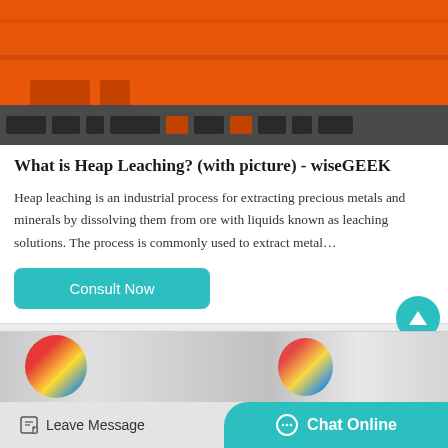[Figure (photo): Orange industrial mining or construction equipment on a flatbed/dark platform, showing large orange metal structure with dark conveyor or base strip.]
What is Heap Leaching? (with picture) - wiseGEEK
Heap leaching is an industrial process for extracting precious metals and minerals by dissolving them from ore with liquids known as leaching solutions. The process is commonly used to extract metal…
[Figure (photo): Partial view of industrial containers/cylinders with colorful circular objects, appearing to be mining or chemical processing equipment.]
Leave Message   Chat Online